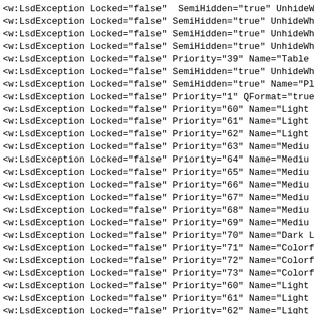<w:LsdException Locked="false"  SemiHidden="true" UnhideWh
<w:LsdException Locked="false" SemiHidden="true" UnhideWh
<w:LsdException Locked="false" SemiHidden="true" UnhideWh
<w:LsdException Locked="false" SemiHidden="true" UnhideWh
<w:LsdException Locked="false" Priority="39" Name="Table
<w:LsdException Locked="false" SemiHidden="true" UnhideWh
<w:LsdException Locked="false" SemiHidden="true" Name="Pl
<w:LsdException Locked="false" Priority="1" QFormat="true
<w:LsdException Locked="false" Priority="60" Name="Light
<w:LsdException Locked="false" Priority="61" Name="Light
<w:LsdException Locked="false" Priority="62" Name="Light
<w:LsdException Locked="false" Priority="63" Name="Mediu
<w:LsdException Locked="false" Priority="64" Name="Mediu
<w:LsdException Locked="false" Priority="65" Name="Mediu
<w:LsdException Locked="false" Priority="66" Name="Mediu
<w:LsdException Locked="false" Priority="67" Name="Mediu
<w:LsdException Locked="false" Priority="68" Name="Mediu
<w:LsdException Locked="false" Priority="69" Name="Mediu
<w:LsdException Locked="false" Priority="70" Name="Dark L
<w:LsdException Locked="false" Priority="71" Name="Colorf
<w:LsdException Locked="false" Priority="72" Name="Colorf
<w:LsdException Locked="false" Priority="73" Name="Colorf
<w:LsdException Locked="false" Priority="60" Name="Light
<w:LsdException Locked="false" Priority="61" Name="Light
<w:LsdException Locked="false" Priority="62" Name="Light
<w:LsdException Locked="false" Priority="63" Name="Mediu
<w:LsdException Locked="false" Priority="64" Name="Mediu
<w:LsdException Locked="false" Priority="65" Name="Mediu
<w:LsdException Locked="false" SemiHidden="true" Name="Re
<w:LsdException Locked="false" Priority="34" QFormat="tru
<w:LsdException Locked="false" Priority="39" QFormat="tru